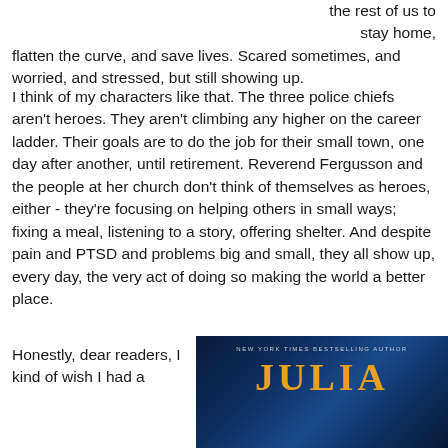the rest of us to stay home, flatten the curve, and save lives. Scared sometimes, and worried, and stressed, but still showing up.
I think of my characters like that. The three police chiefs aren't heroes. They aren't climbing any higher on the career ladder. Their goals are to do the job for their small town, one day after another, until retirement. Reverend Fergusson and the people at her church don't think of themselves as heroes, either - they're focusing on helping others in small ways; fixing a meal, listening to a story, offering shelter. And despite pain and PTSD and problems big and small, they all show up, every day, the very act of doing so making the world a better place.
Honestly, dear readers, I kind of wish I had a
[Figure (illustration): Book cover showing 'NEW YORK TIMES BESTSELLING AUTHOR' text at top in small caps, with large golden/orange title letters partially visible at bottom, on a dark blue background with subtle atmospheric lighting.]